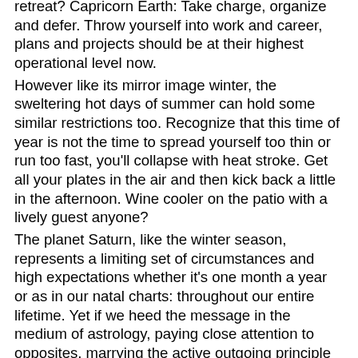retreat? Capricorn Earth: Take charge, organize and defer. Throw yourself into work and career, plans and projects should be at their highest operational level now. However like its mirror image winter, the sweltering hot days of summer can hold some similar restrictions too. Recognize that this time of year is not the time to spread yourself too thin or run too fast, you'll collapse with heat stroke. Get all your plates in the air and then kick back a little in the afternoon. Wine cooler on the patio with a lively guest anyone? The planet Saturn, like the winter season, represents a limiting set of circumstances and high expectations whether it's one month a year or as in our natal charts: throughout our entire lifetime. Yet if we heed the message in the medium of astrology, paying close attention to opposites, marrying the active outgoing principle of the Sun and the attitudinal passive principle of the Earth (in the signs of Capricorn and Cancer respectively, this time of the year), if we work within that criteria we can meet Saturn's